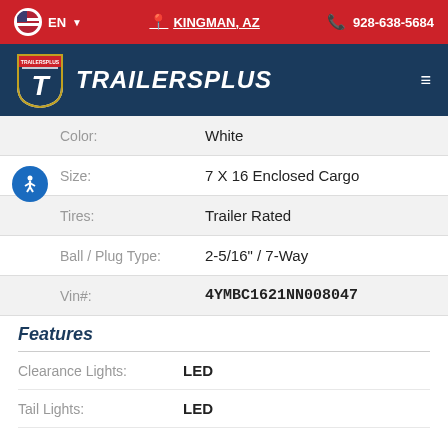EN | KINGMAN, AZ | 928-638-5684
[Figure (logo): TrailersPlus logo with shield emblem and brand name]
| Label | Value |
| --- | --- |
| Color: | White |
| Size: | 7 X 16 Enclosed Cargo |
| Tires: | Trailer Rated |
| Ball / Plug Type: | 2-5/16" / 7-Way |
| Vin#: | 4YMBC1621NN008047 |
Features
| Label | Value |
| --- | --- |
| Clearance Lights: | LED |
| Tail Lights: | LED |